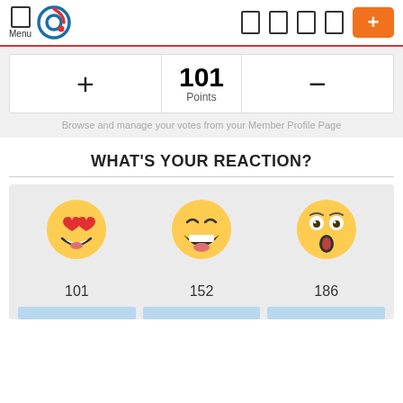Menu [nav icons] +
+ 101 Points -
Browse and manage your votes from your Member Profile Page
WHAT'S YOUR REACTION?
[Figure (infographic): Three emoji reaction icons with counts: heart-eyes emoji (101), laughing emoji (152), shocked/surprised emoji (186), each with a light blue bar below]
101   152   186